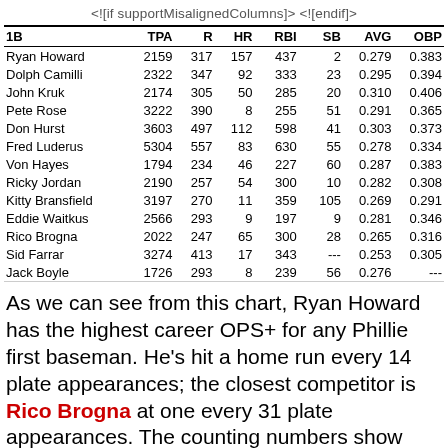<!--[if supportMisalignedColumns]> <![endif]-->
| 1B | TPA | R | HR | RBI | SB | AVG | OBP |
| --- | --- | --- | --- | --- | --- | --- | --- |
| Ryan Howard | 2159 | 317 | 157 | 437 | 2 | 0.279 | 0.383 |
| Dolph Camilli | 2322 | 347 | 92 | 333 | 23 | 0.295 | 0.394 |
| John Kruk | 2174 | 305 | 50 | 285 | 20 | 0.310 | 0.406 |
| Pete Rose | 3222 | 390 | 8 | 255 | 51 | 0.291 | 0.365 |
| Don Hurst | 3603 | 497 | 112 | 598 | 41 | 0.303 | 0.373 |
| Fred Luderus | 5304 | 557 | 83 | 630 | 55 | 0.278 | 0.334 |
| Von Hayes | 1794 | 234 | 46 | 227 | 60 | 0.287 | 0.383 |
| Ricky Jordan | 2190 | 257 | 54 | 300 | 10 | 0.282 | 0.308 |
| Kitty Bransfield | 3197 | 270 | 11 | 359 | 105 | 0.269 | 0.291 |
| Eddie Waitkus | 2566 | 293 | 9 | 197 | 9 | 0.281 | 0.346 |
| Rico Brogna | 2022 | 247 | 65 | 300 | 28 | 0.265 | 0.316 |
| Sid Farrar | 3274 | 413 | 17 | 343 | --- | 0.253 | 0.305 |
| Jack Boyle | 1726 | 293 | 8 | 239 | 56 | 0.276 | --- |
As we can see from this chart, Ryan Howard has the highest career OPS+ for any Phillie first baseman. He's hit a home run every 14 plate appearances; the closest competitor is Rico Brogna at one every 31 plate appearances. The counting numbers show Howard already leading in key categories behind Fred...